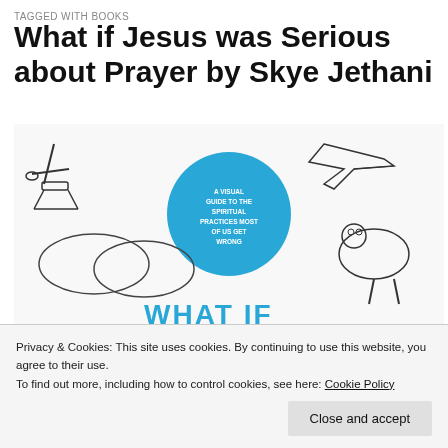TAGGED WITH BOOKS
What if Jesus was Serious about Prayer by Skye Jethani
[Figure (photo): Book cover of 'What if Jesus was Serious about Prayer by Skye Jethani', showing line-art illustrations of various objects and activities, with a blue circle in the center containing text, and the book title partially visible at the bottom in blue letters.]
Privacy & Cookies: This site uses cookies. By continuing to use this website, you agree to their use.
To find out more, including how to control cookies, see here: Cookie Policy
Close and accept